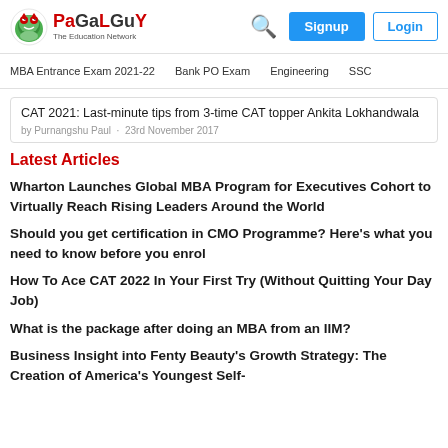PaGaLGuY – The Education Network
MBA Entrance Exam 2021-22 | Bank PO Exam | Engineering | SSC
CAT 2021: Last-minute tips from 3-time CAT topper Ankita Lokhandwala · by Purnangshu Paul · 23rd November 2017
Latest Articles
Wharton Launches Global MBA Program for Executives Cohort to Virtually Reach Rising Leaders Around the World
Should you get certification in CMO Programme? Here's what you need to know before you enrol
How To Ace CAT 2022 In Your First Try (Without Quitting Your Day Job)
What is the package after doing an MBA from an IIM?
Business Insight into Fenty Beauty's Growth Strategy: The Creation of America's Youngest Self-